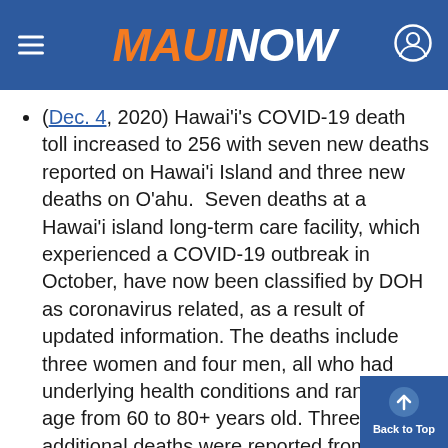MAUI NOW
(Dec. 4, 2020) Hawaiʻi’s COVID-19 death toll increased to 256 with seven new deaths reported on Hawaiʻi Island and three new deaths on Oʻahu.  Seven deaths at a Hawaiʻi island long-term care facility, which experienced a COVID-19 outbreak in October, have now been classified by DOH as coronavirus related, as a result of updated information. The deaths include three women and four men, all who had underlying health conditions and ranged in age from 60 to 80+ years old. Three additional deaths were reported from Oʻahu today, also occurring more than two-weeks ago. All were men, ranging in age from 30 to 80+ years old. All had underlying health conditions and the men had been in the hospital.